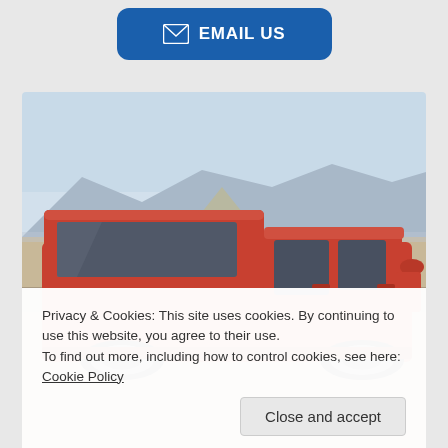[Figure (other): Blue EMAIL US button with envelope icon on grey background]
[Figure (photo): Red pickup truck with camper shell parked in desert landscape with mountains in background]
Privacy & Cookies: This site uses cookies. By continuing to use this website, you agree to their use.
To find out more, including how to control cookies, see here: Cookie Policy
Close and accept